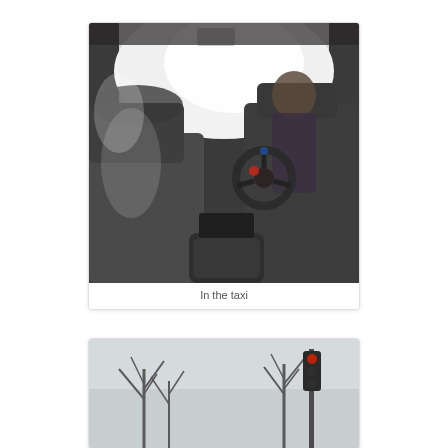[Figure (photo): Interior view of a taxi from the back seat. Dark grey fabric seats visible on left and right. A driver is partially visible in the front right seat. Steering wheel visible in center-right. Bright overexposed windshield light fills the upper portion. Center console armrest in lower center.]
In the taxi
[Figure (photo): Outdoor street scene with bare winter trees and a traffic light visible. Light grey overcast sky. Bottom portion of a second photo card, partially cut off.]